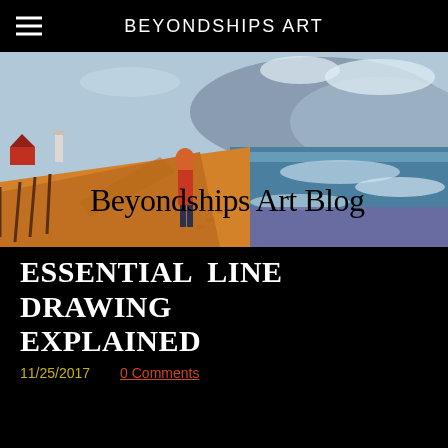BEYONDSHIPS ART
[Figure (illustration): Painting of a person standing on a sandy beach path with ocean waves to the right and buildings/lighthouse in the distance to the left. Painted in impressionistic style with warm oranges, blues, and whites.]
Beyondships Art Blog
ESSENTIAL  LINE DRAWING EXPLAINED
11/25/2017
0 Comments
Several